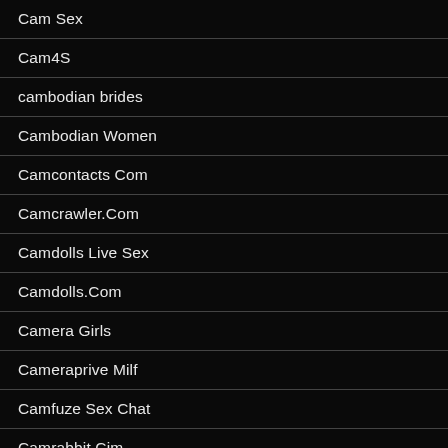Cam Sex
Cam4S
cambodian brides
Cambodian Women
Camcontacts Com
Camcrawler.Com
Camdolls Live Sex
Camdolls.Com
Camera Girls
Cameraprive Milf
Camfuze Sex Chat
Camrabbit.Cim
Camsoda Review